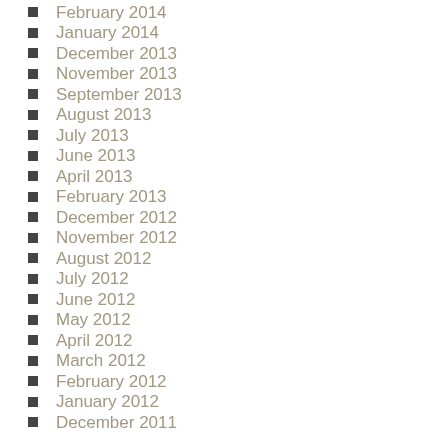February 2014
January 2014
December 2013
November 2013
September 2013
August 2013
July 2013
June 2013
April 2013
February 2013
December 2012
November 2012
August 2012
July 2012
June 2012
May 2012
April 2012
March 2012
February 2012
January 2012
December 2011